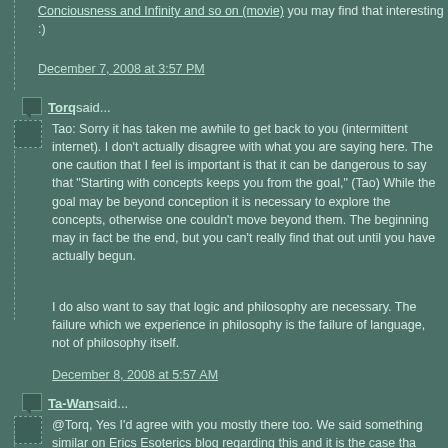Conciousness and Infinity and so on (movie) you may find that interesting :)
December 7, 2008 at 3:57 PM
Torq said...
Tao: Sorry it has taken me awhile to get back to you (intermittent internet). I don't actually disagree with what you are saying here. The one caution that I feel is important is that it can be dangerous to say that "Starting with concepts keeps you from the goal," (Tao) While the goal may be beyond conception it is necessary to explore the concepts, otherwise one couldn't move beyond them. The beginning may in fact be the end, but you can't really find that out until you have actually begun.
I do also want to say that logic and philosophy are necessary. The failure which we experience in philosophy is the failure of language, not of philosophy itself.
December 8, 2008 at 5:57 AM
Ta-Wan said...
@Torq, Yes I'd agree with you mostly there too. We said something similar on Erics Esoterics blog regarding this and it is the case tha